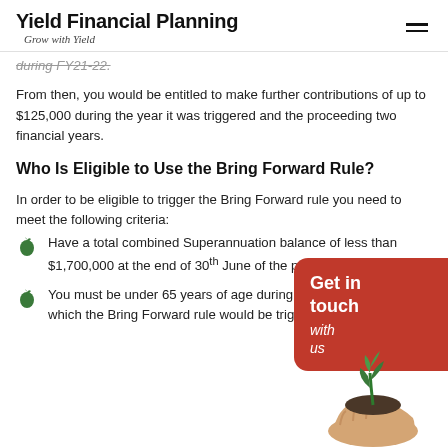Yield Financial Planning — Grow with Yield
during FY21-22.
From then, you would be entitled to make further contributions of up to $125,000 during the year it was triggered and the proceeding two financial years.
Who Is Eligible to Use the Bring Forward Rule?
In order to be eligible to trigger the Bring Forward rule you need to meet the following criteria:
Have a total combined Superannuation balance of less than $1,700,000 at the end of 30th June of the previous financial year;
You must be under 65 years of age during the financial year in which the Bring Forward rule would be triggered; and